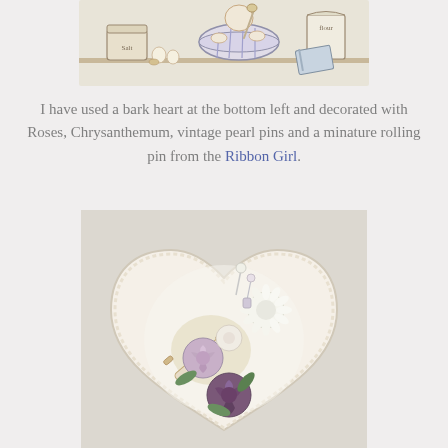[Figure (illustration): Cartoon illustration of a character baking, with bowls, eggs, a bag of flour, and a cookbook on a shelf/table.]
I have used a bark heart at the bottom left and decorated with Roses, Chrysanthemum, vintage pearl pins and a minature rolling pin from the Ribbon Girl.
[Figure (photo): Photo of a decorative heart shape covered in white lace/fabric, decorated with purple and white roses, chrysanthemum flowers, pearl pins, and a miniature rolling pin.]